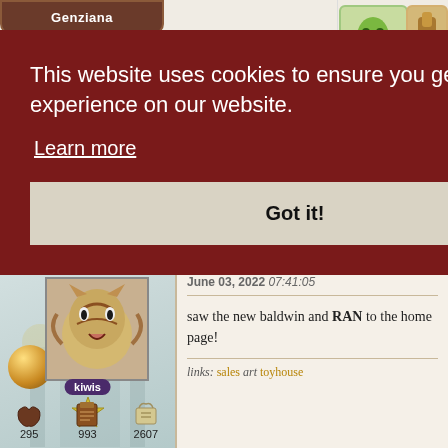[Figure (screenshot): Partial game website header showing Genziana badge and decorative creature images top right]
This website uses cookies to ensure you get the best experience on our website.
Learn more
Got it!
[Figure (screenshot): Forum post showing user avatar 'kiwis' with stats 295, 993, 2607 on the left side]
June 03, 2022 07:41:05
saw the new baldwin and RAN to the home page!
links: sales art toyhouse